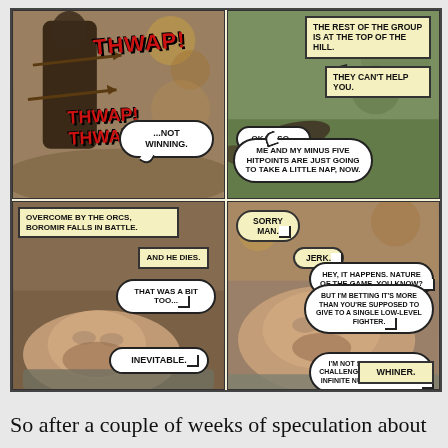[Figure (illustration): A four-panel comic strip overlaid on movie stills from Lord of the Rings depicting Boromir being shot by arrows and dying, with RPG/gaming humor dialogue. Panel 1: Boromir hit by arrows with THWAP sound effects and '...NOT WINNING.' speech bubble. Panel 2: Scene of fallen soldiers with caption boxes 'THE REST OF THE GROUP IS AT THE TOP OF THE HILL.' and 'THEY CAN'T HELP YOU.' and speech bubble 'OKAY. SO... ME AND MY MINUS FIVE HITPOINTS ARE JUST GOING TO TAKE A LITTLE NAP, NOW.' Panel 3: Caption 'OVERCOME BY THE ORCS, BOROMIR FALLS IN BATTLE. AND HE DIES.' with Boromir's face and speech bubbles 'THAT WAS A BIT TOO...' and 'INEVITABLE.' Panel 4: Right side character with 'SORRY MAN.' 'JERK.' and multiple speech bubbles about challenge ratings and orcs, ending with 'WHINER.' caption.]
So after a couple of weeks of speculation about